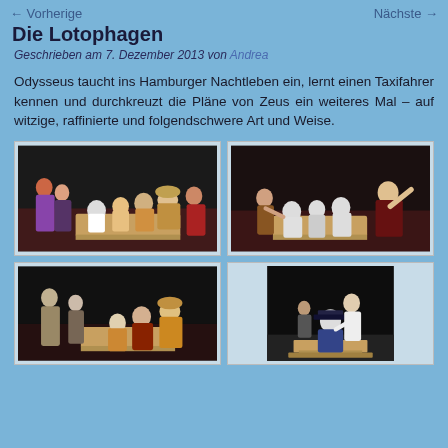← Vorherige    Nächste →
Die Lotophagen
Geschrieben am 7. Dezember 2013 von Andrea
Odysseus taucht ins Hamburger Nachtleben ein, lernt einen Taxifahrer kennen und durchkreuzt die Pläne von Zeus ein weiteres Mal – auf witzige, raffinierte und folgendschwere Art und Weise.
[Figure (photo): Theater scene with multiple actors in costumes sitting on wooden boxes on a dark stage with red lighting]
[Figure (photo): Theater scene with actors in light-colored and dark costumes sitting on wooden boxes on a dark stage with red lighting]
[Figure (photo): Theater scene with three actors, one in white and orange costume near wooden boxes on a dark stage]
[Figure (photo): Theater scene with two actors on a dark stage, one seated on a wooden platform and another leaning over]